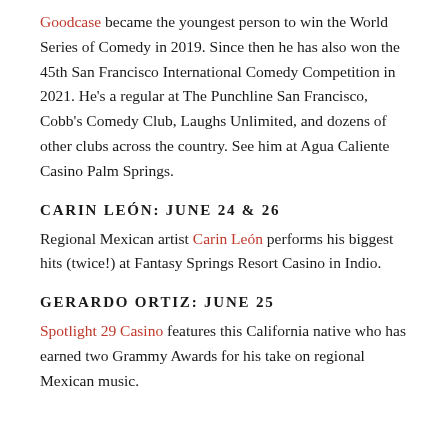Goodcase became the youngest person to win the World Series of Comedy in 2019. Since then he has also won the 45th San Francisco International Comedy Competition in 2021. He's a regular at The Punchline San Francisco, Cobb's Comedy Club, Laughs Unlimited, and dozens of other clubs across the country. See him at Agua Caliente Casino Palm Springs.
CARIN LEÓN: JUNE 24 & 26
Regional Mexican artist Carin León performs his biggest hits (twice!) at Fantasy Springs Resort Casino in Indio.
GERARDO ORTIZ: JUNE 25
Spotlight 29 Casino features this California native who has earned two Grammy Awards for his take on regional Mexican music.